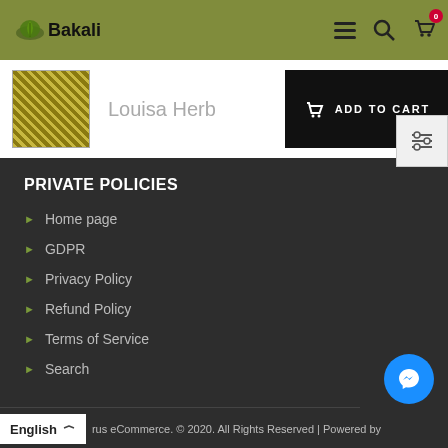Bakali — navigation header with logo, menu, search, and cart icons
Louisa Herb
ADD TO CART
PRIVATE POLICIES
Home page
GDPR
Privacy Policy
Refund Policy
Terms of Service
Search
English  rus eCommerce. © 2020. All Rights Reserved | Powered by